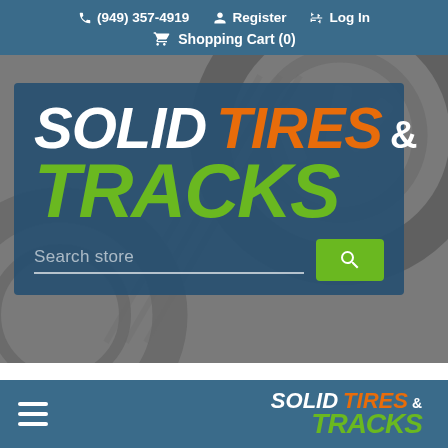(949) 357-4919  Register  Log In  Shopping Cart (0)
[Figure (screenshot): Website header screenshot for Solid Tires & Tracks showing logo with search bar and navigation]
SOLID TIRES & TRACKS
Search store
SOLID TIRES & TRACKS (bottom navigation bar with hamburger menu)